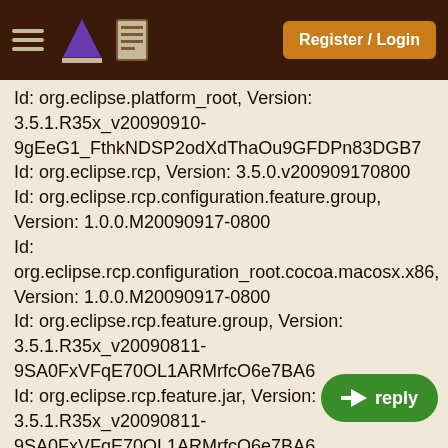Register / Login
Id: org.eclipse.platform_root, Version: 3.5.1.R35x_v20090910-9gEeG1_FthkNDSP2odXdThaOu9GFDPn83DGB7
Id: org.eclipse.rcp, Version: 3.5.0.v200909170800
Id: org.eclipse.rcp.configuration.feature.group, Version: 1.0.0.M20090917-0800
Id: org.eclipse.rcp.configuration_root.cocoa.macosx.x86, Version: 1.0.0.M20090917-0800
Id: org.eclipse.rcp.feature.group, Version: 3.5.1.R35x_v20090811-9SA0FxVFqE70OL1ARMrfcO6e7BA6
Id: org.eclipse.rcp.feature.jar, Version: 3.5.1.R35x_v20090811-9SA0FxVFqE70OL1ARMrfcO6e7BA6
Id: org.eclipse.rcp_root, Version: 3.5.1.R35x_v20090811-9SA0FxVFqE70OL1ARMrfcO6e7BA6
Id: org.eclipse.rse, Version: 3.1.0.v200909212000
Id: org.eclipse.rse.connectorservice.dstore, Version: